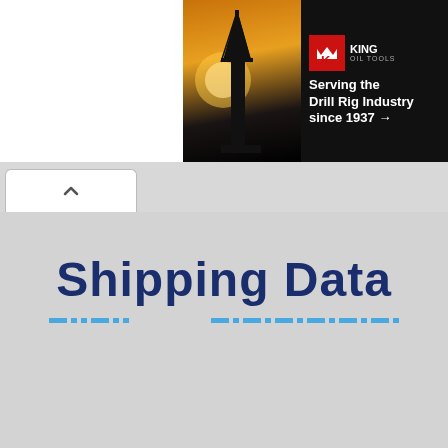[Figure (screenshot): Advertisement banner for King Oil Tools showing a drill rig silhouette at sunset with text 'Serving the Drill Rig Industry since 1937 →' on dark background]
[Figure (screenshot): Browser-style tab bar with a single white tab containing an up-arrow (collapse) icon]
Shipping Data